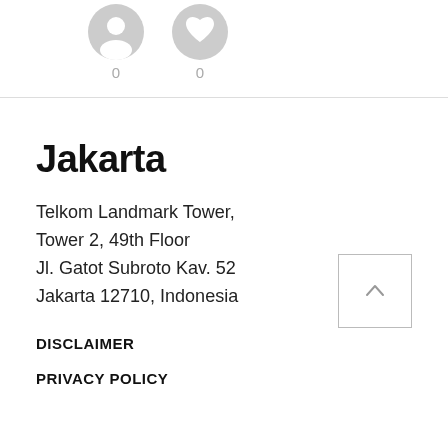[Figure (infographic): Two circular icon buttons with counts below them showing 0 and 0]
Jakarta
Telkom Landmark Tower,
Tower 2, 49th Floor
Jl. Gatot Subroto Kav. 52
Jakarta 12710, Indonesia
[Figure (other): Back to top arrow button]
DISCLAIMER
PRIVACY POLICY